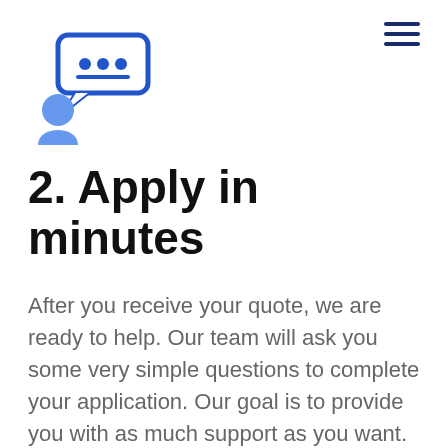[Figure (illustration): Blue icon of a person with a speech bubble containing three dots (chat/conversation icon)]
2. Apply in minutes
After you receive your quote, we are ready to help. Our team will ask you some very simple questions to complete your application. Our goal is to provide you with as much support as you want.